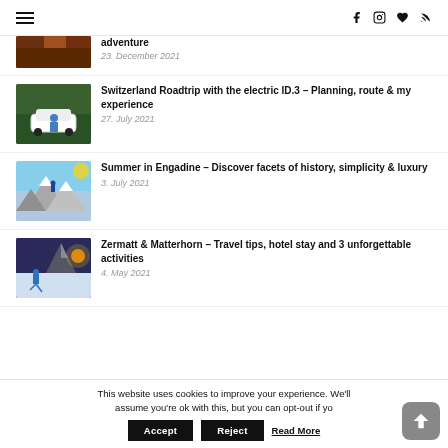Navigation bar with hamburger menu and social icons (f, Instagram, heart, RSS)
[Figure (photo): Partial view of a travel photo (canyon/rock formation) cropped at top]
adventure
23. December 2021
[Figure (photo): Woman crouching next to white VW ID.3 electric car in forest]
Switzerland Roadtrip with the electric ID.3 – Planning, route & my experience
27. July 2021
[Figure (photo): Person standing on mountain peak over snowy Engadine landscape at sunset]
Summer in Engadine – Discover facets of history, simplicity & luxury
3. July 2021
[Figure (photo): Person walking in snow with Matterhorn in background at sunset]
Zermatt & Matterhorn – Travel tips, hotel stay and 3 unforgettable activities
4. May 2021
This website uses cookies to improve your experience. We'll assume you're ok with this, but you can opt-out if yo
Accept  Reject  Read More